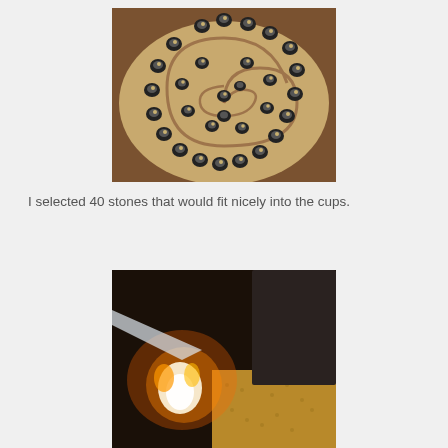[Figure (photo): Overhead view of small black rubber or plastic cups arranged in a spiral pattern on a beige/tan circular board placed on a wooden table. Each cup contains a small stone or pebble.]
I selected 40 stones that would fit nicely into the cups.
[Figure (photo): Close-up photo of a flame or torch light being applied to a dark metal surface, with a textured yellow/golden material visible in the background. The scene is dark with a bright white and orange flame.]